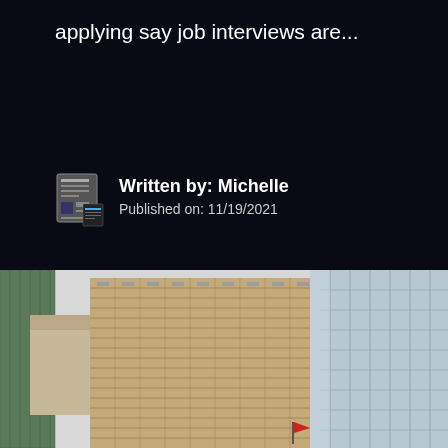applying say job interviews are...
Written by: Michelle
Published on: 11/19/2021
[Figure (photo): Upward view of tall city skyscrapers and office buildings against a light sky, including a large tan/beige building in the center, a glass skyscraper on the right, and other buildings visible on the left. A red flag is visible near the bottom right of the center building.]